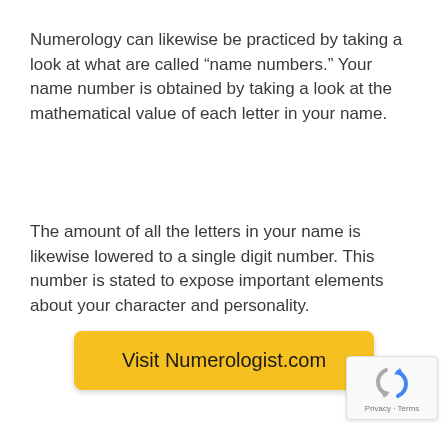Numerology can likewise be practiced by taking a look at what are called “name numbers.” Your name number is obtained by taking a look at the mathematical value of each letter in your name.
The amount of all the letters in your name is likewise lowered to a single digit number. This number is stated to expose important elements about your character and personality.
Visit Numerologist.com
[Figure (logo): reCAPTCHA badge with Privacy and Terms text]